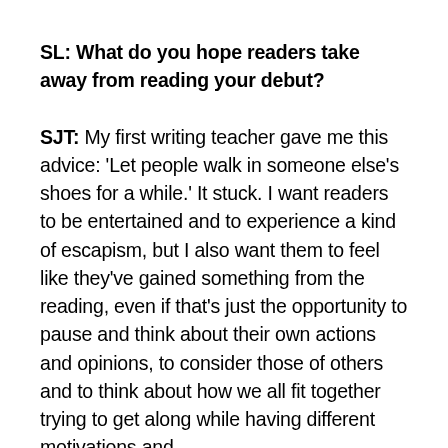SL: What do you hope readers take away from reading your debut?
SJT: My first writing teacher gave me this advice: 'Let people walk in someone else's shoes for a while.' It stuck. I want readers to be entertained and to experience a kind of escapism, but I also want them to feel like they've gained something from the reading, even if that's just the opportunity to pause and think about their own actions and opinions, to consider those of others and to think about how we all fit together trying to get along while having different motivations and